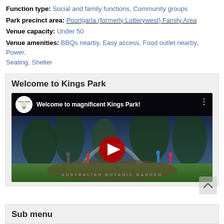Function type: Social and family functions, Community groups
Park precinct area: Poorlgarla (formerly Lotterywest) Family Area
Venue capacity: Under 50
Venue amenities: BBQs nearby, Easy access, Food outlet nearby, Power, Seating, Shelter
Welcome to Kings Park
[Figure (screenshot): YouTube video thumbnail for 'Welcome to magnificent Kings Park!' showing Kings Park and Botanic Garden entrance with stone arch, visitors, and YouTube play button overlay. Kings Park logo visible in top left of video bar.]
Sub menu